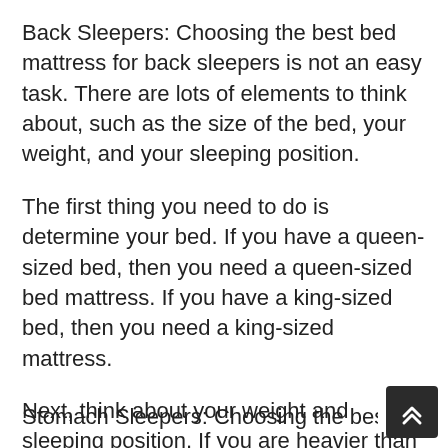Back Sleepers: Choosing the best bed mattress for back sleepers is not an easy task. There are lots of elements to think about, such as the size of the bed, your weight, and your sleeping position.
The first thing you need to do is determine your bed. If you have a queen-sized bed, then you need a queen-sized bed mattress. If you have a king-sized bed, then you need a king-sized mattress.
Next, think about your weight and sleeping position. If you are heavier than typical or sleep on your stomach or side generally, then it's best to get a firmer mattress that will supply more assistance for your back and spine.
Stomach Sleepers: Choosing the best bed mattres